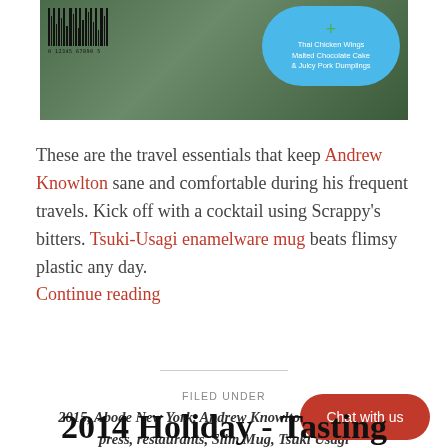[Figure (photo): Top portion of a book or magazine cover showing a scenic outdoor background with stepping stones, a barcode in the lower left, and a blue cloud-shaped bubble on the right listing 'Thai Chicken Wings, Malted Chocolate Cake & Juicy Pork Dumplings' with a green plus sign.]
These are the travel essentials that keep Andrew Knowlton sane and comfortable during his frequent travels. Kick off with a cocktail using Scrappy's bitters. Tsuki-Usagi enamelware mug beats flimsy plastic any day. Continue reading
FILED UNDER
2015, Abode New York, Andrew Knowlton, Bon Appétit, press, restaurants, Slim Mug, Tsuki Usagi
2014 Holiday - Tasting